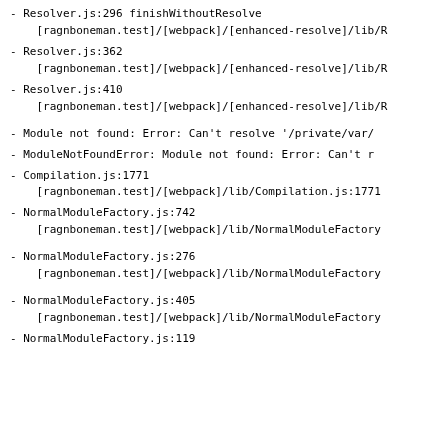- Resolver.js:296 finishWithoutResolve
    [ragnboneman.test]/[webpack]/[enhanced-resolve]/lib/R
- Resolver.js:362
    [ragnboneman.test]/[webpack]/[enhanced-resolve]/lib/R
- Resolver.js:410
    [ragnboneman.test]/[webpack]/[enhanced-resolve]/lib/R
- Module not found: Error: Can't resolve '/private/var/
- ModuleNotFoundError: Module not found: Error: Can't r
- Compilation.js:1771
    [ragnboneman.test]/[webpack]/lib/Compilation.js:1771
- NormalModuleFactory.js:742
    [ragnboneman.test]/[webpack]/lib/NormalModuleFactory
- NormalModuleFactory.js:276
    [ragnboneman.test]/[webpack]/lib/NormalModuleFactory
- NormalModuleFactory.js:405
    [ragnboneman.test]/[webpack]/lib/NormalModuleFactory
- NormalModuleFactory.js:119